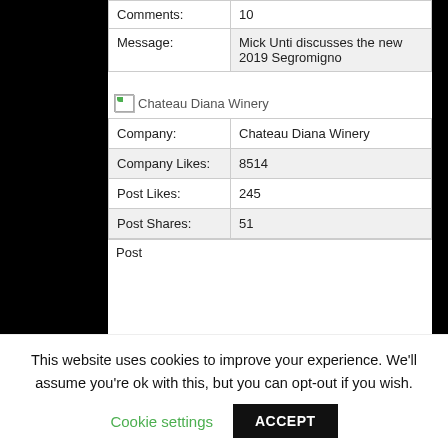| Field | Value |
| --- | --- |
| Comments: | 10 |
| Message: | Mick Unti discusses the new 2019 Segromigno |
[Figure (illustration): Broken image placeholder for Chateau Diana Winery logo]
| Field | Value |
| --- | --- |
| Company: | Chateau Diana Winery |
| Company Likes: | 8514 |
| Post Likes: | 245 |
| Post Shares: | 51 |
| Post |  |
This website uses cookies to improve your experience. We'll assume you're ok with this, but you can opt-out if you wish.
Cookie settings | ACCEPT